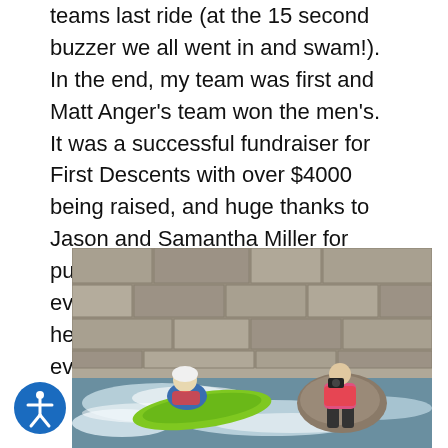teams last ride (at the 15 second buzzer we all went in and swam!). In the end, my team was first and Matt Anger's team won the men's. It was a successful fundraiser for First Descents with over $4000 being raised, and huge thanks to Jason and Samantha Miller for putting this event on. Great job to everyone who competed and helped. make this an awesome event!
[Figure (photo): Two people at a whitewater rapid. One person wearing a blue jacket and white helmet is in a green kayak going through whitewater. Another person in a pink shirt and dark shorts sits on a rock holding a camera. A large stone wall is in the background.]